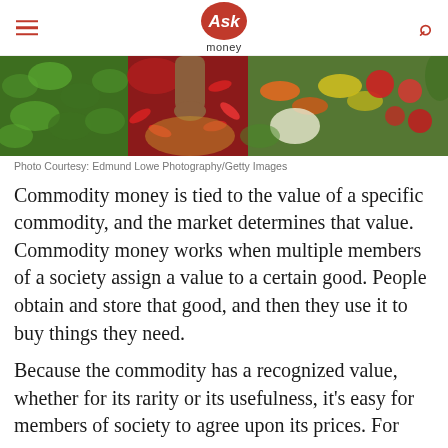Ask money
[Figure (photo): Overhead view of colorful market vegetables including green herbs, red chili peppers, carrots, and tomatoes with a person's hand reaching in]
Photo Courtesy: Edmund Lowe Photography/Getty Images
Commodity money is tied to the value of a specific commodity, and the market determines that value. Commodity money works when multiple members of a society assign a value to a certain good. People obtain and store that good, and then they use it to buy things they need.
Because the commodity has a recognized value, whether for its rarity or its usefulness, it's easy for members of society to agree upon its prices. For